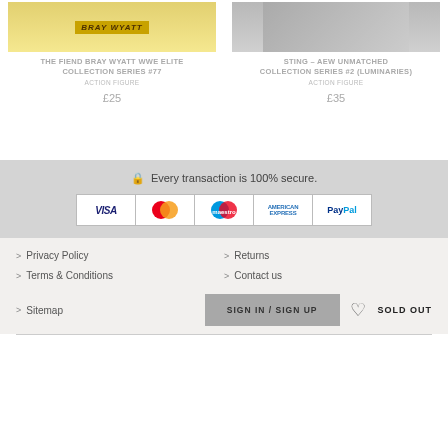THE FIEND BRAY WYATT WWE ELITE COLLECTION SERIES #77
ACTION FIGURE
£25
STING – AEW UNMATCHED COLLECTION SERIES #2 (LUMINARIES)
ACTION FIGURE
£35
Every transaction is 100% secure.
[Figure (logo): Payment logos: VISA, Mastercard, Maestro, American Express, PayPal]
> Privacy Policy
> Returns
> Terms & Conditions
> Contact us
> Sitemap
SIGN IN / SIGN UP
SOLD OUT